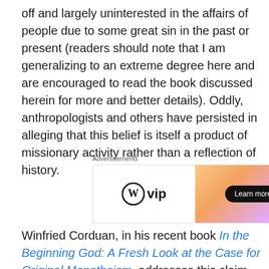off and largely uninterested in the affairs of people due to some great sin in the past or present (readers should note that I am generalizing to an extreme degree here and are encouraged to read the book discussed herein for more and better details). Oddly, anthropologists and others have persisted in alleging that this belief is itself a product of missionary activity rather than a reflection of history.
[Figure (other): Advertisement banner for WordPress VIP with a gradient orange-purple background and a 'Learn more' button]
Winfried Corduan, in his recent book In the Beginning God: A Fresh Look at the Case for Original Monotheism, addresses this claim head on. The claim continues to be found in text books noting that, for example, "Christian ideas had evidently spread from tribe